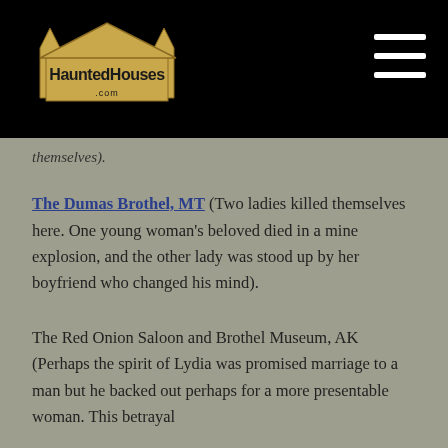HauntedHouses.com
themselves).
The Dumas Brothel, MT (Two ladies killed themselves here. One young woman's beloved died in a mine explosion, and the other lady was stood up by her boyfriend who changed his mind).
The Red Onion Saloon and Brothel Museum, AK (Perhaps the spirit of Lydia was promised marriage to a man but he backed out perhaps for a more presentable woman. This betrayal